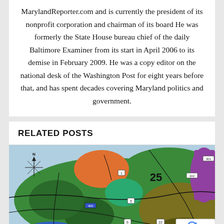MarylandReporter.com and is currently the president of its nonprofit corporation and chairman of its board He was formerly the State House bureau chief of the daily Baltimore Examiner from its start in April 2006 to its demise in February 2009. He was a copy editor on the national desk of the Washington Post for eight years before that, and has spent decades covering Maryland politics and government.
RELATED POSTS
[Figure (map): Colorful map of Maryland legislative districts showing district boundaries and numbers including district 25, with compass rose in upper left. Districts shown in green, orange, olive/brown, purple, and blue colors with road overlays.]